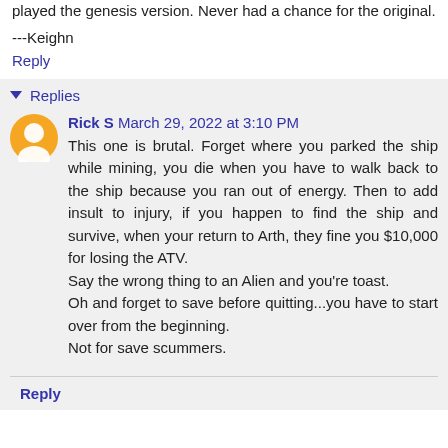played the genesis version. Never had a chance for the original.
---Keighn
Reply
Replies
Rick S  March 29, 2022 at 3:10 PM
This one is brutal. Forget where you parked the ship while mining, you die when you have to walk back to the ship because you ran out of energy. Then to add insult to injury, if you happen to find the ship and survive, when your return to Arth, they fine you $10,000 for losing the ATV.
Say the wrong thing to an Alien and you're toast.
Oh and forget to save before quitting...you have to start over from the beginning.
Not for save scummers.
Reply